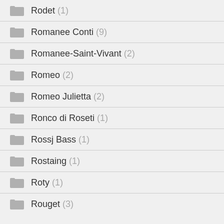Rodet (1)
Romanee Conti (9)
Romanee-Saint-Vivant (2)
Romeo (2)
Romeo Julietta (2)
Ronco di Roseti (1)
Rossj Bass (1)
Rostaing (1)
Roty (1)
Rouget (3)